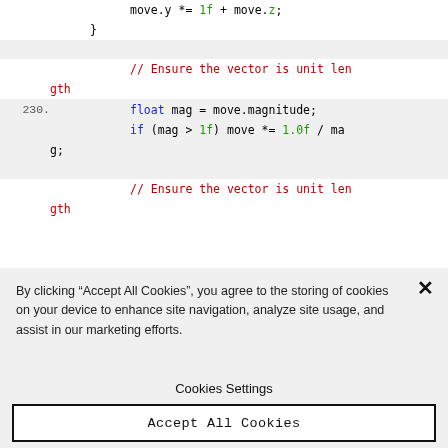[Figure (screenshot): Code editor screenshot showing C# code with line number 230, including a comment '// Ensure the vector is unit length', float mag declaration, if statement for normalization, and a repeated comment. Syntax highlighted: keywords in blue, comments in dark red, numeric literals in green.]
By clicking “Accept All Cookies”, you agree to the storing of cookies on your device to enhance site navigation, analyze site usage, and assist in our marketing efforts.
Cookies Settings
Accept All Cookies